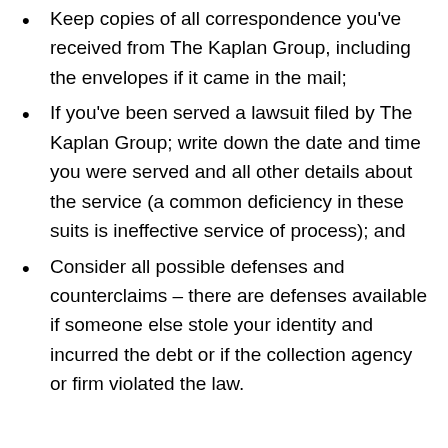Keep copies of all correspondence you've received from The Kaplan Group, including the envelopes if it came in the mail;
If you've been served a lawsuit filed by The Kaplan Group; write down the date and time you were served and all other details about the service (a common deficiency in these suits is ineffective service of process); and
Consider all possible defenses and counterclaims – there are defenses available if someone else stole your identity and incurred the debt or if the collection agency or firm violated the law.